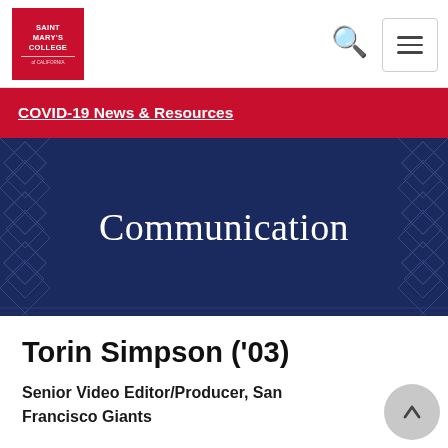[Figure (logo): Saint Mary's College of California logo — red square with white text]
COVID-19 News & Resources
Communication
Torin Simpson ('03)
Senior Video Editor/Producer, San Francisco Giants